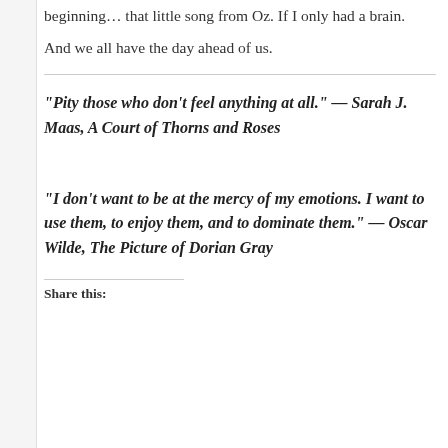beginning… that little song from Oz. If I only had a brain.
And we all have the day ahead of us.
“Pity those who don’t feel anything at all.”  — Sarah J. Maas, A Court of Thorns and Roses
“I don’t want to be at the mercy of my emotions. I want to use them, to enjoy them, and to dominate them.” — Oscar Wilde, The Picture of Dorian Gray
Share this: